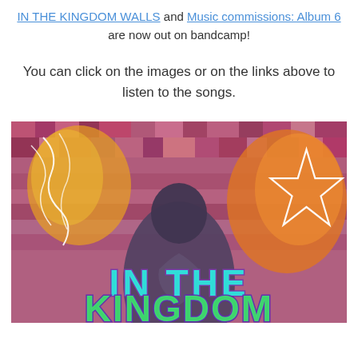IN THE KINGDOM WALLS and Music commissions: Album 6 are now out on bandcamp!
You can click on the images or on the links above to listen to the songs.
[Figure (illustration): Album art for 'IN THE KINGDOM WALLS' — an anime-style figure with dark hair, hands clasped in prayer, against a colorful glitchy pixelated background of pink, red, and purple pixels. A glowing orange/yellow fire-like aura on the right and left with a white pentagram star outline on the upper right. Bold text reads 'IN THE KINGDOM' in cyan/purple outlined letters at the bottom of the image.]